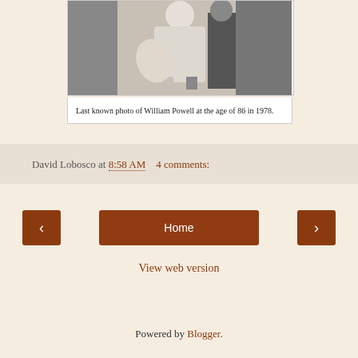[Figure (photo): Black and white photograph of William Powell at age 86 in 1978, showing a person in white clothing.]
Last known photo of William Powell at the age of 86 in 1978.
David Lobosco at 8:58 AM   4 comments:
‹   Home   ›
View web version
Powered by Blogger.